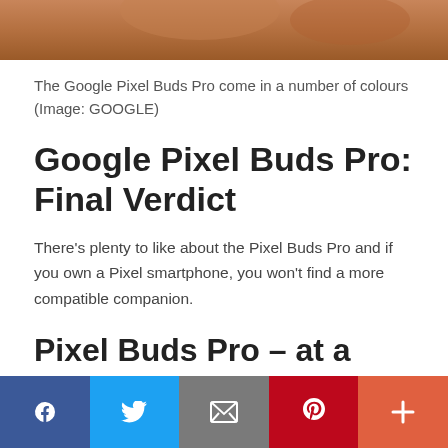[Figure (photo): Top portion of an image showing Google Pixel Buds Pro, cropped close-up with warm skin-tone background.]
The Google Pixel Buds Pro come in a number of colours (Image: GOOGLE)
Google Pixel Buds Pro: Final Verdict
There’s plenty to like about the Pixel Buds Pro and if you own a Pixel smartphone, you won’t find a more compatible companion.
Pixel Buds Pro – at a glance
[Figure (infographic): Social media sharing bar with Facebook, Twitter, Email, Pinterest, and More buttons.]